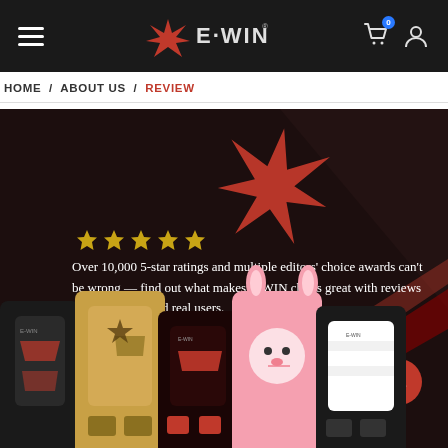E-WIN (navigation bar with hamburger menu, logo, cart and user icons)
HOME / ABOUT US / REVIEW
[Figure (photo): E-WIN gaming chair promotional banner with dark background, red star logo, gold star ratings, text about 10,000 5-star ratings and multiple editors choice awards, and a lineup of 5 gaming chairs in different colors (black, gold, red/black, pink bunny themed, black/white)]